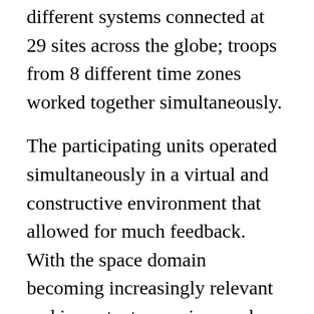different systems connected at 29 sites across the globe; troops from 8 different time zones worked together simultaneously.
The participating units operated simultaneously in a virtual and constructive environment that allowed for much feedback. With the space domain becoming increasingly relevant and important, exercises such as Virtual Flag are a great opportunity to integrate the space domain into the tactical and operational environment.
“Exercise Coalition VIRTUAL FLAG is the world’s premier distributed synthetic